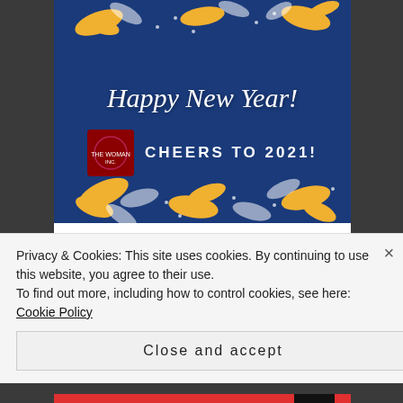[Figure (screenshot): A New Year 2021 greeting card image with dark navy blue background, gold and white confetti/ribbons decorations, cursive text 'Happy New Year!' and bold text 'CHEERS TO 2021!' with a red logo square on the left]
Jan 1, 2021
The Woman Inc. @TheWomanInc1
“I fill my suitcase with food
Privacy & Cookies: This site uses cookies. By continuing to use this website, you agree to their use.
To find out more, including how to control cookies, see here: Cookie Policy
Close and accept